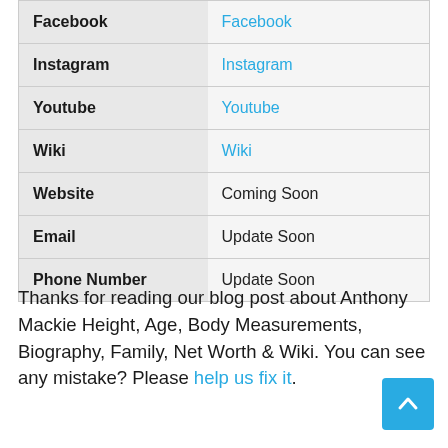|  |  |
| --- | --- |
| Facebook | Facebook |
| Instagram | Instagram |
| Youtube | Youtube |
| Wiki | Wiki |
| Website | Coming Soon |
| Email | Update Soon |
| Phone Number | Update Soon |
Thanks for reading our blog post about Anthony Mackie Height, Age, Body Measurements, Biography, Family, Net Worth & Wiki. You can see any mistake? Please help us fix it.